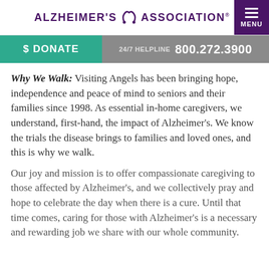ALZHEIMER'S ASSOCIATION® | MENU
$ DONATE   24/7 HELPLINE  800.272.3900
Why We Walk:  Visiting Angels has been bringing hope, independence and peace of mind to seniors and their families since 1998. As essential in-home caregivers, we understand, first-hand, the impact of Alzheimer's. We know the trials the disease brings to families and loved ones, and this is why we walk.
Our joy and mission is to offer compassionate caregiving to those affected by Alzheimer's, and we collectively pray and hope to celebrate the day when there is a cure. Until that time comes, caring for those with Alzheimer's is a necessary and rewarding job we share with our whole community.